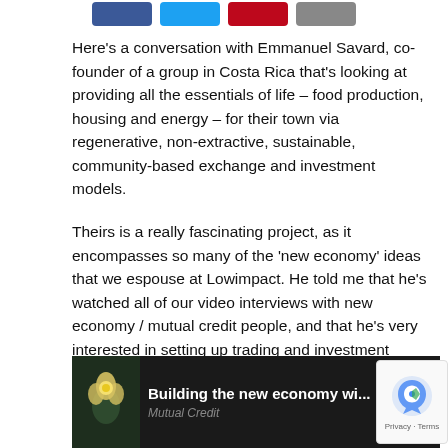[Figure (other): Social media share buttons: Facebook (blue), Twitter (cyan), Pinterest (red), Email (gray)]
Here's a conversation with Emmanuel Savard, co-founder of a group in Costa Rica that's looking at providing all the essentials of life – food production, housing and energy – for their town via regenerative, non-extractive, sustainable, community-based exchange and investment models.
Theirs is a really fascinating project, as it encompasses so many of the 'new economy' ideas that we espouse at Lowimpact. He told me that he's watched all of our video interviews with new economy / mutual credit people, and that he's very interested in setting up trading and investment systems using mutual credit and Chris Cooks's use-credit obligation ideas.
[Figure (screenshot): Video thumbnail showing a flower image with text 'Building the new economy wi...' and subtitle 'Mutual Credit' on dark background]